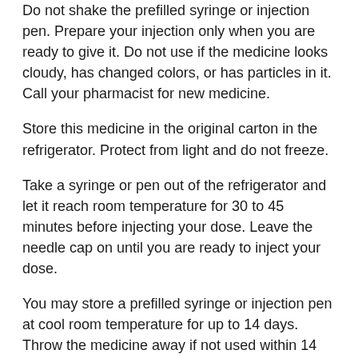Do not shake the prefilled syringe or injection pen. Prepare your injection only when you are ready to give it. Do not use if the medicine looks cloudy, has changed colors, or has particles in it. Call your pharmacist for new medicine.
Store this medicine in the original carton in the refrigerator. Protect from light and do not freeze.
Take a syringe or pen out of the refrigerator and let it reach room temperature for 30 to 45 minutes before injecting your dose. Leave the needle cap on until you are ready to inject your dose.
You may store a prefilled syringe or injection pen at cool room temperature for up to 14 days. Throw the medicine away if not used within 14 days. Do not put it back into the refrigerator.